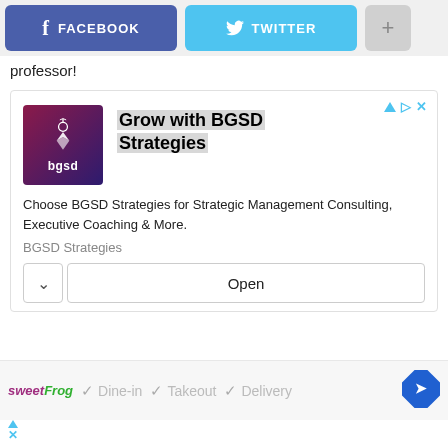[Figure (screenshot): Social media share buttons: Facebook (blue), Twitter (cyan), and a plus (+) button (gray)]
professor!
[Figure (screenshot): BGSD Strategies advertisement with logo, title 'Grow with BGSD Strategies', description 'Choose BGSD Strategies for Strategic Management Consulting, Executive Coaching & More.', brand 'BGSD Strategies', and an Open button]
[Figure (screenshot): sweetFrog restaurant info bar showing Dine-in, Takeout, Delivery options with checkmarks and navigation diamond icon]